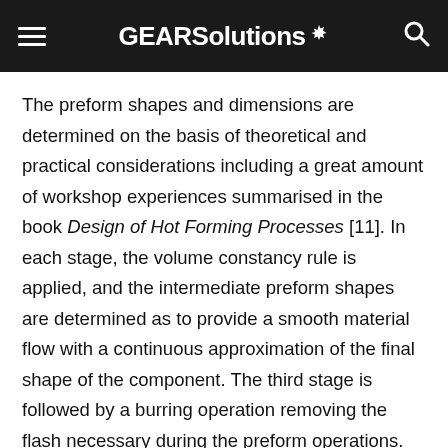GEARSolutions
The preform shapes and dimensions are determined on the basis of theoretical and practical considerations including a great amount of workshop experiences summarised in the book Design of Hot Forming Processes [11]. In each stage, the volume constancy rule is applied, and the intermediate preform shapes are determined as to provide a smooth material flow with a continuous approximation of the final shape of the component. The third stage is followed by a burring operation removing the flash necessary during the preform operations. Finally, the cutting operation of the central hole is performed and the gearing is done by machining operation. The heat-treatment of the component is done by hardening with subsequent tempering to get the prescribed hardness and other mechanical properties. The forming of the part is done on a National type hot forming